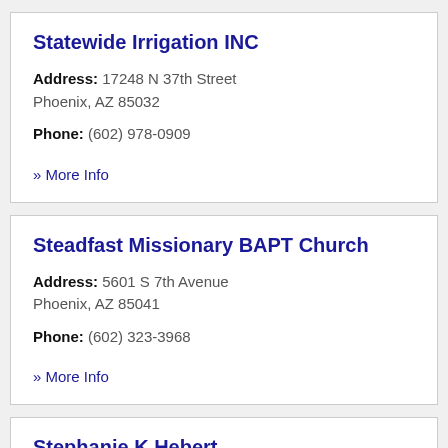Statewide Irrigation INC
Address: 17248 N 37th Street
Phoenix, AZ 85032
Phone: (602) 978-0909
» More Info
Steadfast Missionary BAPT Church
Address: 5601 S 7th Avenue
Phoenix, AZ 85041
Phone: (602) 323-3968
» More Info
Stephanie K Hebert